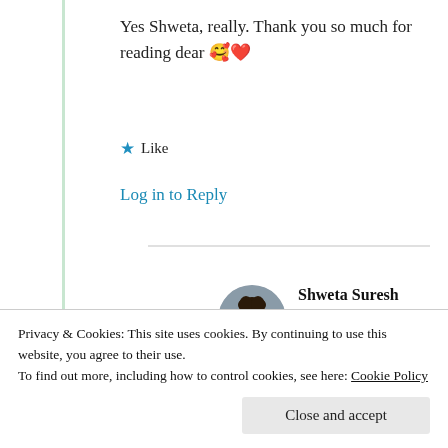Yes Shweta, really. Thank you so much for reading dear 🥰❤️
★ Like
Log in to Reply
Shweta Suresh
5th Aug 2021 at 4:52 pm
Privacy & Cookies: This site uses cookies. By continuing to use this website, you agree to their use.
To find out more, including how to control cookies, see here: Cookie Policy
Close and accept
Advertisements